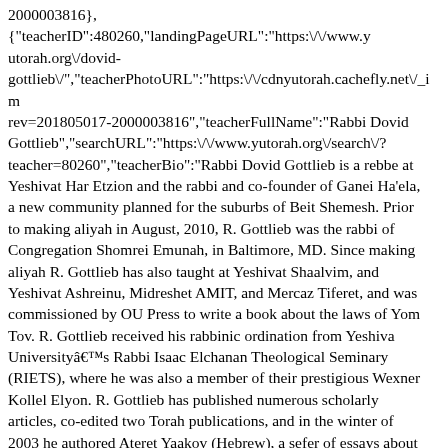2000003816},{"teacherID":480260,"landingPageURL":"https:\/\/www.yutorah.org\/dovid-gottlieb\/","teacherPhotoURL":"https:\/\/cdnyutorah.cachefly.net\/_images\/faculty\/rev=201805017-2000003816","teacherFullName":"Rabbi Dovid Gottlieb","searchURL":"https:\/\/www.yutorah.org\/search\/?teacher=80260","teacherBio":"Rabbi Dovid Gottlieb is a rebbe at Yeshivat Har Etzion and the rabbi and co-founder of Ganei Ha'ela, a new community planned for the suburbs of Beit Shemesh. Prior to making aliyah in August, 2010, R. Gottlieb was the rabbi of Congregation Shomrei Emunah, in Baltimore, MD. Since making aliyah R. Gottlieb has also taught at Yeshivat Shaalvim, and Yeshivat Ashreinu, Midreshet AMIT, and Mercaz Tiferet, and was commissioned by OU Press to write a book about the laws of Yom Tov. R. Gottlieb received his rabbinic ordination from Yeshiva Universityâs Rabbi Isaac Elchanan Theological Seminary (RIETS), where he was also a member of their prestigious Wexner Kollel Elyon. R. Gottlieb has published numerous scholarly articles, co-edited two Torah publications, and in the winter of 2003 he authored Ateret Yaakov (Hebrew), a sefer of essays about a wide range of halachic topics\r\n","teacherPhotoURL_o":"https:\/\/cdnyutorah.cachefly.net\/_images\/faculty\/rev=201805017-2000003816"}],"shiurURL":"\/2009\/1054\/732431.MP3","shiurTeacherName":"Rabbi Dovid Gottlieb","postedInCategoriesIDList":234005,"age":"ageAll","mediaURL":"https:\/\/www.yutorah.org\/dovid-gottlieb\/the-authority-and-responsibility-of-the-gabbai-